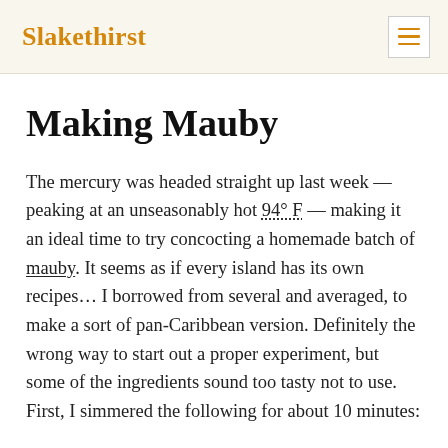Slakethirst
Making Mauby
The mercury was headed straight up last week — peaking at an unseasonably hot 94° F — making it an ideal time to try concocting a homemade batch of mauby. It seems as if every island has its own recipes... I borrowed from several and averaged, to make a sort of pan-Caribbean version. Definitely the wrong way to start out a proper experiment, but some of the ingredients sound too tasty not to use. First, I simmered the following for about 10 minutes: